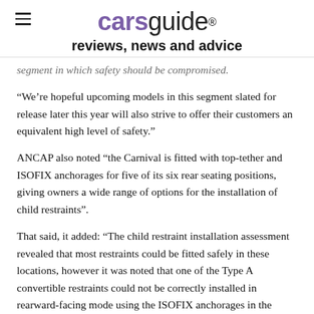carsguide reviews, news and advice
segment in which safety should be compromised.
“We’re hopeful upcoming models in this segment slated for release later this year will also strive to offer their customers an equivalent high level of safety.”
ANCAP also noted “the Carnival is fitted with top-tether and ISOFIX anchorages for five of its six rear seating positions, giving owners a wide range of options for the installation of child restraints”.
That said, it added: “The child restraint installation assessment revealed that most restraints could be fitted safely in these locations, however it was noted that one of the Type A convertible restraints could not be correctly installed in rearward-facing mode using the ISOFIX anchorages in the second row outboard seats or the third